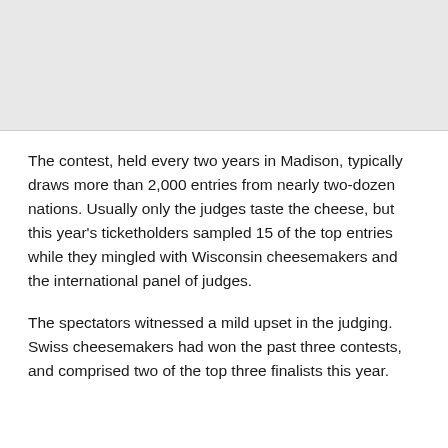[Figure (other): Gray placeholder image area at top of page]
The contest, held every two years in Madison, typically draws more than 2,000 entries from nearly two-dozen nations. Usually only the judges taste the cheese, but this year's ticketholders sampled 15 of the top entries while they mingled with Wisconsin cheesemakers and the international panel of judges.
The spectators witnessed a mild upset in the judging. Swiss cheesemakers had won the past three contests, and comprised two of the top three finalists this year.